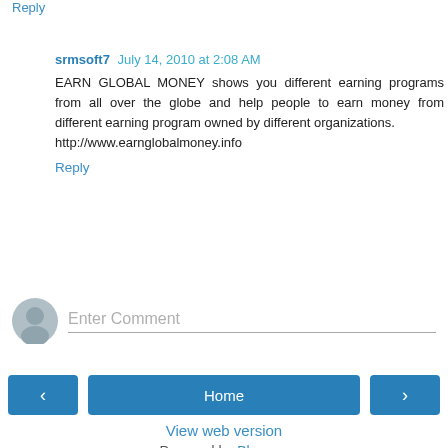Reply
srmsoft7  July 14, 2010 at 2:08 AM
EARN GLOBAL MONEY shows you different earning programs from all over the globe and help people to earn money from different earning program owned by different organizations.
http://www.earnglobalmoney.info
Reply
Enter Comment
Home
View web version
Powered by Blogger.